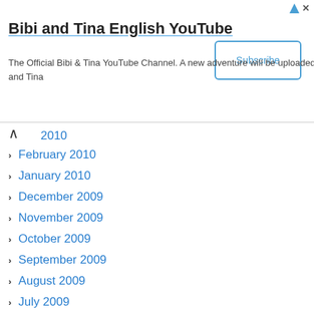[Figure (screenshot): Advertisement banner for Bibi and Tina English YouTube channel with Subscribe button]
February 2010
January 2010
December 2009
November 2009
October 2009
September 2009
August 2009
July 2009
June 2009
May 2009
April 2009